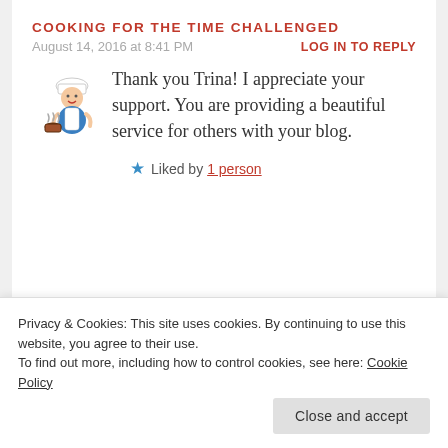COOKING FOR THE TIME CHALLENGED
August 14, 2016 at 8:41 PM
LOG IN TO REPLY
[Figure (illustration): Cartoon chef illustration holding a pot]
Thank you Trina! I appreciate your support. You are providing a beautiful service for others with your blog.
★ Liked by 1 person
ITSGOODTOBECRAZYSOMETIMES
August 19, 2016 at 10:40 AM
Privacy & Cookies: This site uses cookies. By continuing to use this website, you agree to their use. To find out more, including how to control cookies, see here: Cookie Policy
Close and accept